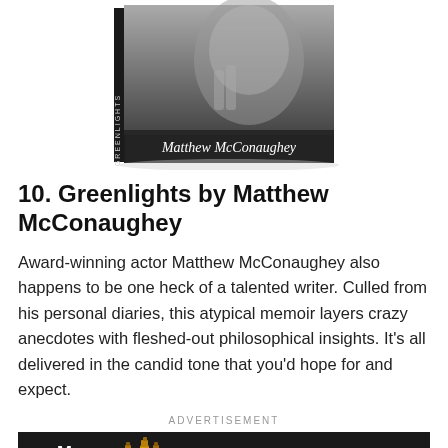[Figure (photo): Book cover of Greenlights by Matthew McConaughey showing a black and white photo of the author with his hands clasped near his face, with his name printed on the cover]
10. Greenlights by Matthew McConaughey
Award-winning actor Matthew McConaughey also happens to be one heck of a talented writer. Culled from his personal diaries, this atypical memoir layers crazy anecdotes with fleshed-out philosophical insights. It's all delivered in the candid tone that you'd hope for and expect.
ADVERTISEMENT
[Figure (other): Advertisement banner for Man of Many Exclusive Whiskey with dark background, logo, Buy It Here button, whiskey bottle images, and text reading MANOFMANY Exclusive Whiskey]